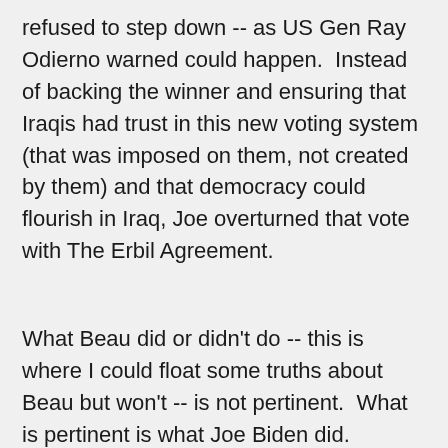refused to step down -- as US Gen Ray Odierno warned could happen.  Instead of backing the winner and ensuring that Iraqis had trust in this new voting system (that was imposed on them, not created by them) and that democracy could flourish in Iraq, Joe overturned that vote with The Erbil Agreement.
What Beau did or didn't do -- this is where I could float some truths about Beau but won't -- is not pertinent.  What is pertinent is what Joe Biden did.
And if he wants to talk about support for the troops, I'm sorry Senator Tammy Duckworth, where's your critique?  Candidate Wheezy?  She's slammed Donald Trump for not serving in Vietnam.  Joe didn't.  Despite playing baseball and football in high school and college, he was too 'sickly' from asthma to serve in